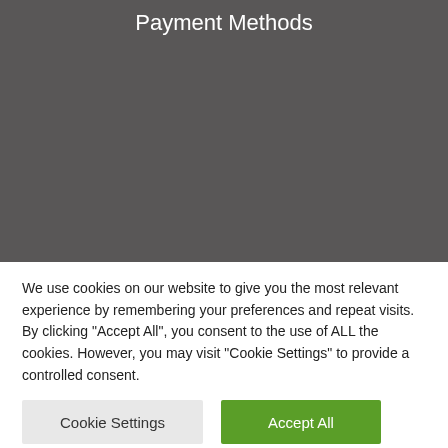Payment Methods
[Figure (screenshot): Dark gray background area representing a website screenshot section with Payment Methods header]
We use cookies on our website to give you the most relevant experience by remembering your preferences and repeat visits. By clicking "Accept All", you consent to the use of ALL the cookies. However, you may visit "Cookie Settings" to provide a controlled consent.
Cookie Settings
Accept All